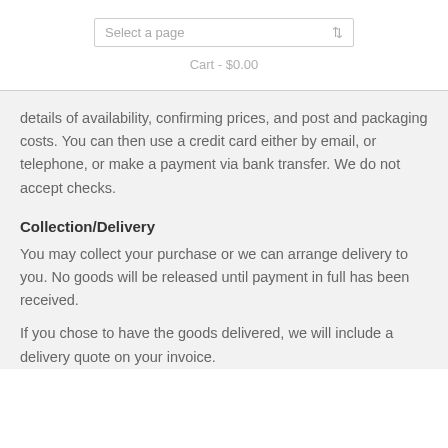Select a page
Cart -  $0.00
details of availability, confirming prices, and post and packaging costs. You can then use a credit card either by email, or telephone, or make a payment via bank transfer. We do not accept checks.
Collection/Delivery
You may collect your purchase or we can arrange delivery to you. No goods will be released until payment in full has been received.
If you chose to have the goods delivered, we will include a delivery quote on your invoice.